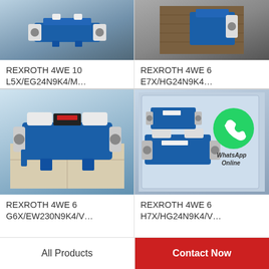[Figure (photo): Blue Rexroth hydraulic directional control valve on white surface, top-left product]
REXROTH 4WE 10 L5X/EG24N9K4/M…
[Figure (photo): Rexroth valve on wooden surface, partially shown, top-right product]
REXROTH 4WE 6 E7X/HG24N9K4…
[Figure (photo): Blue Rexroth 4WE 6 hydraulic directional control valve on tiled floor]
REXROTH 4WE 6 G6X/EW230N9K4/V…
[Figure (photo): Two blue Rexroth valves in packaging with WhatsApp Online overlay]
REXROTH 4WE 6 H7X/HG24N9K4/V…
All Products
Contact Now